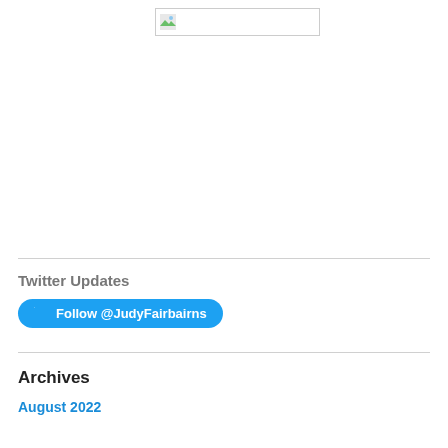[Figure (logo): Logo image placeholder with broken image icon and border]
Twitter Updates
Follow @JudyFairbairns
Archives
August 2022